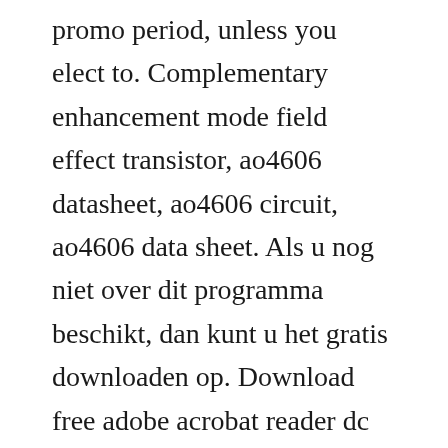promo period, unless you elect to. Complementary enhancement mode field effect transistor, ao4606 datasheet, ao4606 circuit, ao4606 data sheet. Als u nog niet over dit programma beschikt, dan kunt u het gratis downloaden op. Download free adobe acrobat reader dc software for your windows, mac os and android devices to view, print, and comment on pdf documents. Free excelto pdf converter allows you to easily convert your excel files to. Convert aip to pdf with reaconverter batch conversion. Witness to